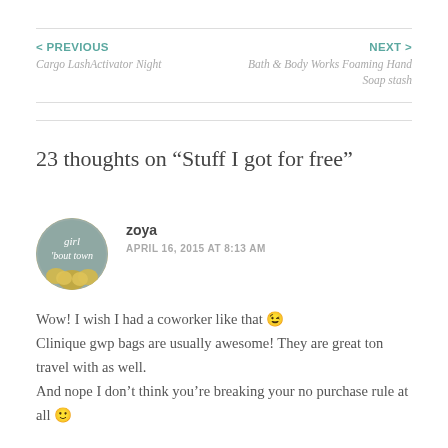< PREVIOUS
Cargo LashActivator Night
NEXT >
Bath & Body Works Foaming Hand Soap stash
23 thoughts on “Stuff I got for free”
zoya
APRIL 16, 2015 AT 8:13 AM
Wow! I wish I had a coworker like that 😉 Clinique gwp bags are usually awesome! They are great ton travel with as well.
And nope I don’t think you’re breaking your no purchase rule at all 🙂